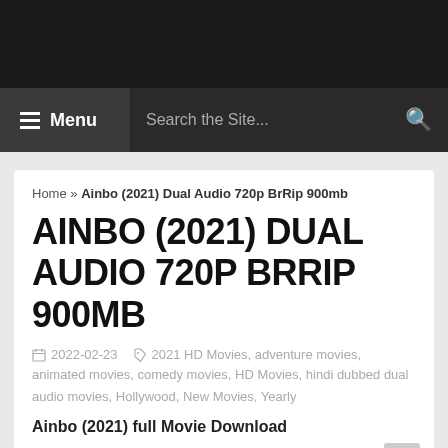Menu  Search the Site...
Home » Ainbo (2021) Dual Audio 720p BrRip 900mb
AINBO (2021) DUAL AUDIO 720P BRRIP 900MB
2022-02-23   2021 HD Movies, adventure movies, animated movies, comedy movies, HD Movies, hindi dubbed dual audio movies, Hollywood, New Movies, Yearly
Ainbo (2021) full Movie Download
Ainbo (2021) full Movie Download, Hollywood Ainbo free download in Dual audio hd for pc and mobile